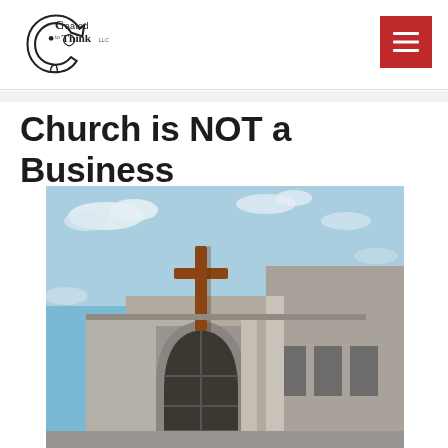[Figure (logo): Created to Think logo — stylized human head profile outline with text 'Created to Think' inside]
[Figure (other): Red hamburger/menu button with three white horizontal lines]
Church is NOT a Business
[Figure (photo): Photograph of a modern concrete church building exterior with a wooden cross on top, blue sky with clouds in background, arched window visible]